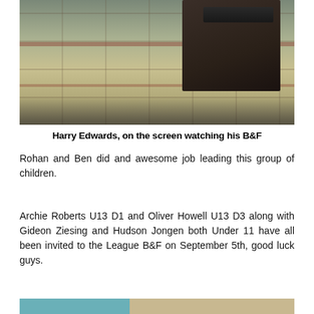[Figure (photo): Indoor photo showing a patterned carpet floor with a dark table holding electronic devices, cords on the floor, viewed from above/angle.]
Harry Edwards, on the screen watching his B&F
Rohan and Ben did and awesome job leading this group of children.
Archie Roberts U13 D1 and Oliver Howell U13 D3 along with Gideon Ziesing and Hudson Jongen both Under 11 have all been invited to the League B&F on September 5th, good luck guys.
[Figure (other): Partial colored strip at the bottom: teal and tan/beige sections visible.]